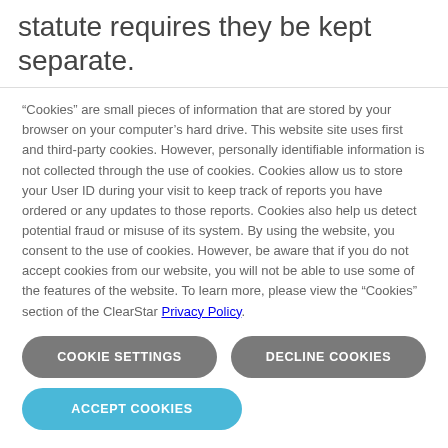statute requires they be kept separate.
“Cookies” are small pieces of information that are stored by your browser on your computer’s hard drive. This website site uses first and third-party cookies. However, personally identifiable information is not collected through the use of cookies. Cookies allow us to store your User ID during your visit to keep track of reports you have ordered or any updates to those reports. Cookies also help us detect potential fraud or misuse of its system. By using the website, you consent to the use of cookies. However, be aware that if you do not accept cookies from our website, you will not be able to use some of the features of the website. To learn more, please view the “Cookies” section of the ClearStar Privacy Policy.
COOKIE SETTINGS
DECLINE COOKIES
ACCEPT COOKIES